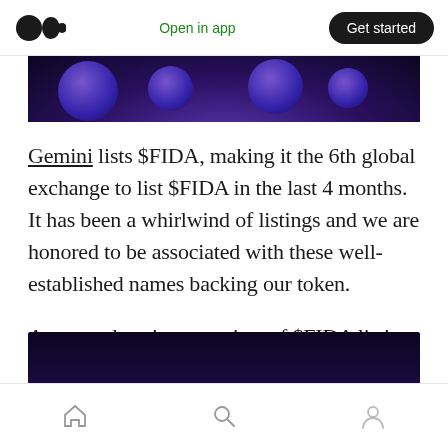Open in app | Get started
[Figure (photo): Dark purple/blue abstract banner image, top portion of an article image]
Gemini lists $FIDA, making it the 6th global exchange to list $FIDA in the last 4 months. It has been a whirlwind of listings and we are honored to be associated with these well-established names backing our token.
A comprehensive overview of $FIDA listings can be seen below.
[Figure (photo): Dark navy/purple banner image, bottom portion of article image]
Home | Search | Profile